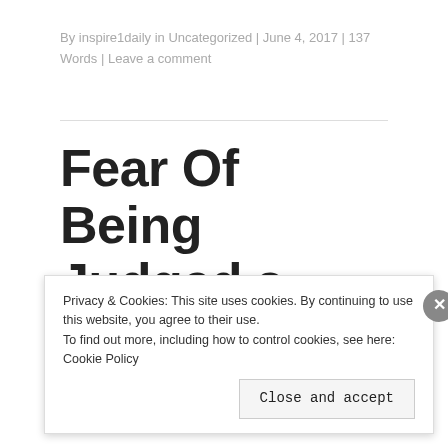By inspire1daily in Uncategorized | June 4, 2017 | 137 Words | Leave a comment
Fear Of Being Judged a Real Thing?
[Figure (photo): Photo showing several people's heads from behind, facing a central figure who is covering their face, set against a blue background.]
Privacy & Cookies: This site uses cookies. By continuing to use this website, you agree to their use.
To find out more, including how to control cookies, see here: Cookie Policy
Close and accept